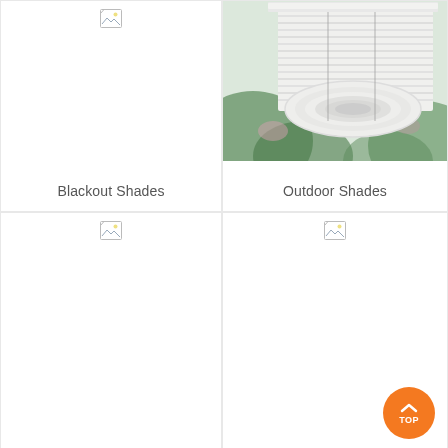[Figure (photo): Broken/missing image placeholder for Blackout Shades product]
[Figure (photo): Photo of white rolled-up outdoor bamboo/reed shades, with green foliage in background]
Blackout Shades
Outdoor Shades
[Figure (photo): Broken/missing image placeholder for a shades product]
[Figure (photo): Broken/missing image placeholder for a shades product]